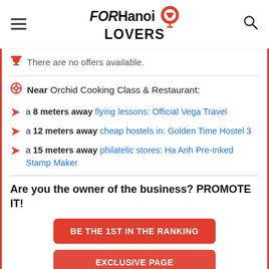FOR Hanoi LOVERS
There are no offers available.
Near Orchid Cooking Class & Restaurant:
a 8 meters away flying lessons: Official Vega Travel
a 12 meters away cheap hostels in: Golden Time Hostel 3
a 15 meters away philatelic stores: Ha Anh Pre-Inked Stamp Maker
Are you the owner of the business? PROMOTE IT!
BE THE 1ST IN THE RANKING
EXCLUSIVE PAGE